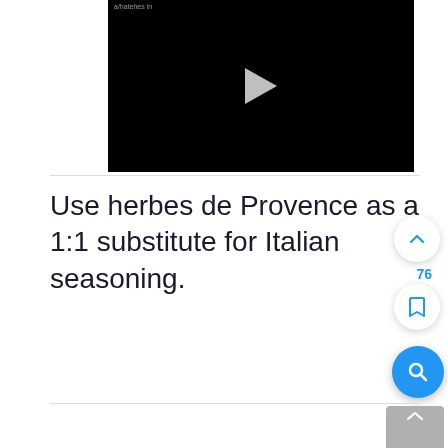[Figure (screenshot): Black video player with a play button triangle in the center and a faint watermark in the upper left corner.]
Use herbes de Provence as a 1:1 substitute for Italian seasoning.
[Figure (other): UI overlay buttons: up-arrow circle button, count 76, bookmark circle button, blue search circle button, and a gray partially visible button at the bottom right.]